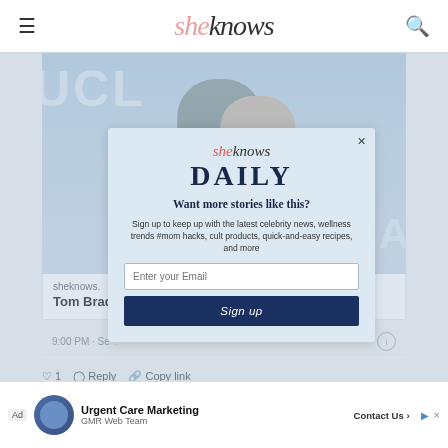sheknows
[Figure (photo): Tom Brady and Gisele Bundchen at UCLA event, with modal newsletter signup overlay]
sheknows.
Tom Brady ... usiness As Usual A...
9:00 PM · Se...
1  Reply  Copy link
[Figure (infographic): Newsletter signup modal with SheKnows Daily branding, email input, and Sign up button]
Ad  Urgent Care Marketing  GMR Web Team  Contact Us >